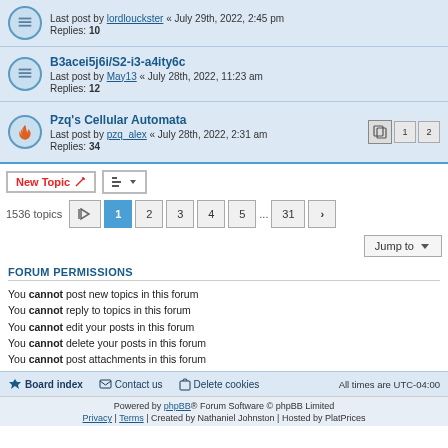Last post by lordlouckster « July 29th, 2022, 2:45 pm
Replies: 10
B3acei5j6i/S2-i3-a4ity6c
Last post by May13 « July 28th, 2022, 11:23 am
Replies: 12
Pzq's Cellular Automata
Last post by pzq_alex « July 28th, 2022, 2:31 am
Replies: 34
New Topic | Sort | 1536 topics | 1 2 3 4 5 ... 31
Jump to
FORUM PERMISSIONS
You cannot post new topics in this forum
You cannot reply to topics in this forum
You cannot edit your posts in this forum
You cannot delete your posts in this forum
You cannot post attachments in this forum
Board index | Contact us | Delete cookies | All times are UTC-04:00
Powered by phpBB® Forum Software © phpBB Limited
Privacy | Terms | Created by Nathaniel Johnston | Hosted by PlatPrices